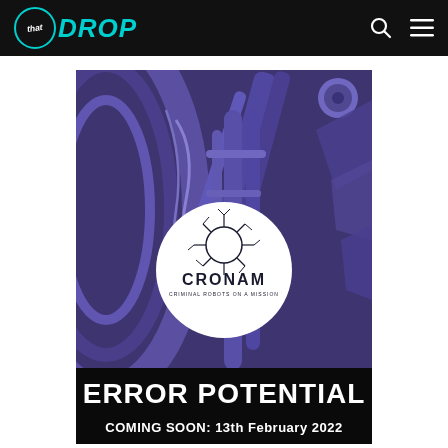thatDROP
[Figure (illustration): Promotional artwork for CRONAM - Criminal Robots on a Mission. Dark purple/indigo mechanical/robotic illustration background with a white circle containing the CRONAM logo and text. Bottom black bar reads ERROR POTENTIAL COMING SOON: 13th February 2022]